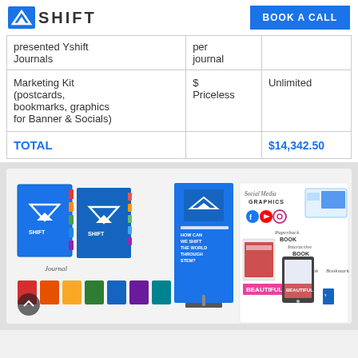YSHIFT | BOOK A CALL
| Item | Price | Value |
| --- | --- | --- |
| presented Yshift Journals | per journal |  |
| Marketing Kit (postcards, bookmarks, graphics for Banner & Socials) | $ Priceless | Unlimited |
| TOTAL |  | $14,342.50 |
[Figure (photo): Marketing materials collage showing Yshift journals with colored tabs, a pull-up banner, social media graphics panel with Facebook/YouTube/Instagram icons, a postcard, paperback book, interactive book, e-book, and bookmark]